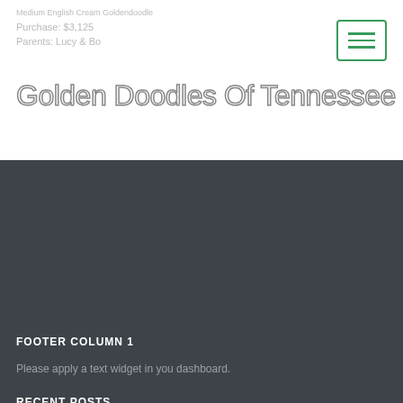Medium English Cream Goldendoodle
Purchase: $3,125
Parents: Lucy & Bo
Golden Doodles Of Tennessee
FOOTER COLUMN 1
Please apply a text widget in you dashboard.
RECENT POSTS
Bebe
January 5, 2022
We've added a new goldendoodle coloring book to help
September 23, 2021